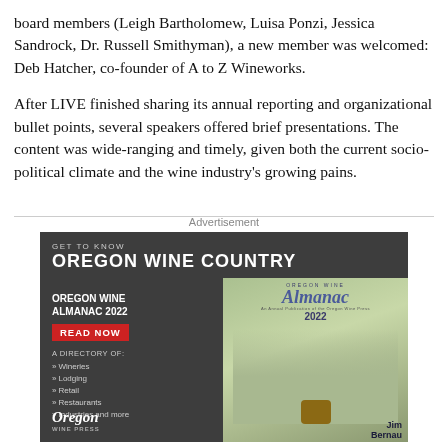board members (Leigh Bartholomew, Luisa Ponzi, Jessica Sandrock, Dr. Russell Smithyman), a new member was welcomed: Deb Hatcher, co-founder of A to Z Wineworks.
After LIVE finished sharing its annual reporting and organizational bullet points, several speakers offered brief presentations. The content was wide-ranging and timely, given both the current socio-political climate and the wine industry's growing pains.
Advertisement
[Figure (other): Advertisement for Oregon Wine Almanac 2022 by Oregon Wine Press. Dark gray background with headline 'GET TO KNOW OREGON WINE COUNTRY', sub-heading 'OREGON WINE ALMANAC 2022', red 'READ NOW' button, directory listing of Wineries, Lodging, Retail, Restaurants, Industries and more, Oregon Wine Press logo on left. Right side shows magazine cover with 'Oregon Wine Almanac 2022' title and three people standing near a wine barrel with Jim Bernau credited.]